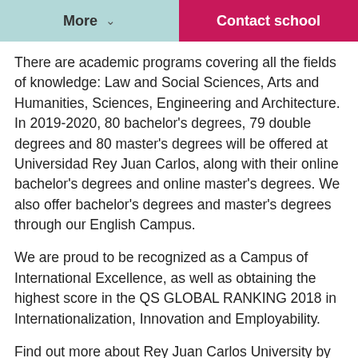More   Contact school
There are academic programs covering all the fields of knowledge: Law and Social Sciences, Arts and Humanities, Sciences, Engineering and Architecture. In 2019-2020, 80 bachelor's degrees, 79 double degrees and 80 master's degrees will be offered at Universidad Rey Juan Carlos, along with their online bachelor's degrees and online master's degrees. We also offer bachelor's degrees and master's degrees through our English Campus.
We are proud to be recognized as a Campus of International Excellence, as well as obtaining the highest score in the QS GLOBAL RANKING 2018 in Internationalization, Innovation and Employability.
Find out more about Rey Juan Carlos University by filling in your details and the school will contact you.